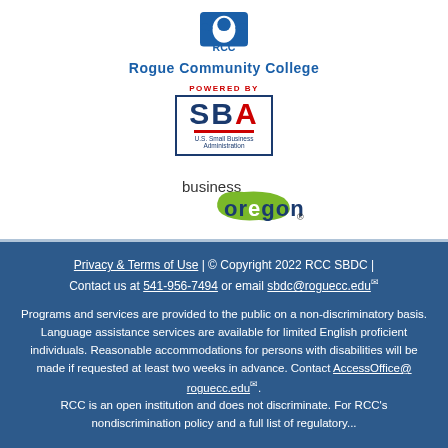[Figure (logo): RCC Rogue Community College logo with eagle icon and blue text]
[Figure (logo): SBA U.S. Small Business Administration logo with 'Powered By' in red]
[Figure (logo): Business Oregon logo with green Oregon state shape]
Privacy & Terms of Use | © Copyright 2022 RCC SBDC | Contact us at 541-956-7494 or email sbdc@roguecc.edu
Programs and services are provided to the public on a non-discriminatory basis. Language assistance services are available for limited English proficient individuals. Reasonable accommodations for persons with disabilities will be made if requested at least two weeks in advance. Contact AccessOffice@ roguecc.edu. RCC is an open institution and does not discriminate. For RCC's nondiscrimination policy and a full list of regulatory...